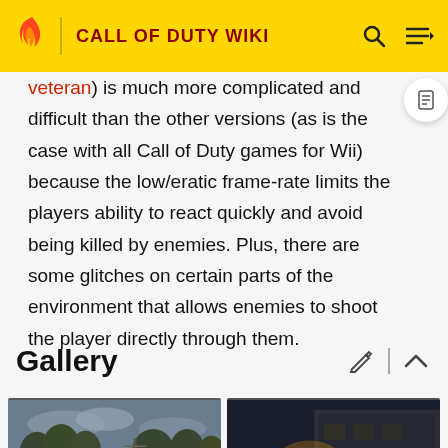CALL OF DUTY WIKI
veteran) is much more complicated and difficult than the other versions (as is the case with all Call of Duty games for Wii) because the low/eratic frame-rate limits the players ability to react quickly and avoid being killed by enemies. Plus, there are some glitches on certain parts of the environment that allows enemies to shoot the player directly through them.
Gallery
[Figure (photo): A sniper in camouflage (ghillie suit) aiming a large rifle with a suppressor in an outdoor environment with trees and cloudy sky.]
[Figure (photo): A soldier firing a weapon at night near a building with bright muzzle flash and light effects visible.]